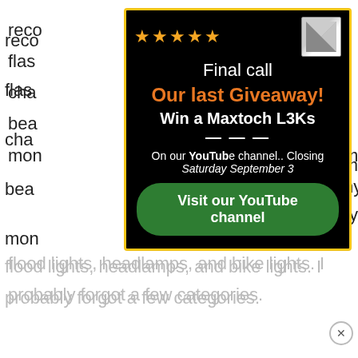reco
flas
cha
bea
mon
[Figure (infographic): Popup advertisement with golden border on black background. Contains 5 orange stars, a thumbnail image, title 'Final call', orange text 'Our last Giveaway!', bold white text 'Win a Maxtoch L3Ks', closing info 'On our YouTube channel.. Closing Saturday September 3', and a green button 'Visit our YouTube channel'.]
Each
this
Goo
So far, we've reviewed EDC flashlights, pen lights, powerful high lumen flashlights, tactical flashlights, mini flashlights, keychain flashlights, flood lights, headlamps, and bike lights. I probably forgot a few categories.